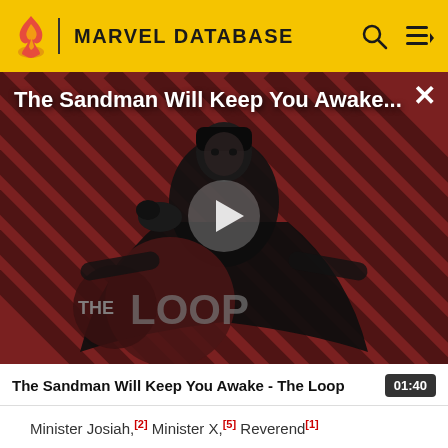MARVEL DATABASE
[Figure (screenshot): Video thumbnail showing a dark-cloaked figure against a red diagonal striped background with THE LOOP logo. Title overlay reads 'The Sandman Will Keep You Awake...' with a play button in the center.]
The Sandman Will Keep You Awake - The Loop  01:40
Minister Josiah,[2] Minister X,[5] Reverend[1]
AFFILIATION AND RELATIONSHIPS